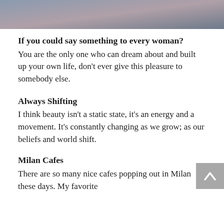[Figure (photo): Partial photograph of an outdoor sky/landscape scene, cropped at top of page]
If you could say something to every woman?
You are the only one who can dream about and built up your own life, don't ever give this pleasure to somebody else.
Always Shifting
I think beauty isn't a static state, it's an energy and a movement. It's constantly changing as we grow; as our beliefs and world shift.
Milan Cafes
There are so many nice cafes popping out in Milan these days. My favorite